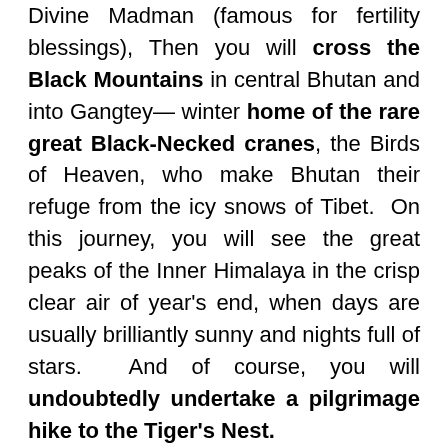Divine Madman (famous for fertility blessings), Then you will cross the Black Mountains in central Bhutan and into Gangtey— winter home of the rare great Black-Necked cranes, the Birds of Heaven, who make Bhutan their refuge from the icy snows of Tibet.  On this journey, you will see the great peaks of the Inner Himalaya in the crisp clear air of year's end, when days are usually brilliantly sunny and nights full of stars.  And of course, you will undoubtedly undertake a pilgrimage hike to the Tiger's Nest.

Our December Journey is also designed as a